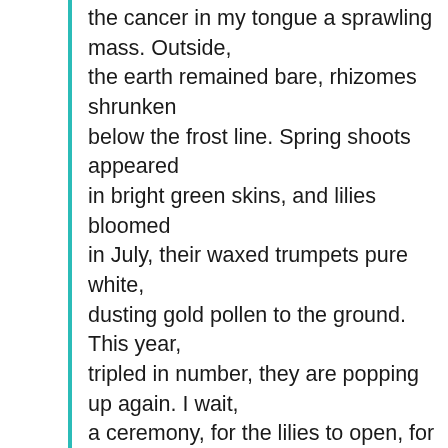the cancer in my tongue a sprawling mass. Outside, the earth remained bare, rhizomes shrunken below the frost line. Spring shoots appeared in bright green skins, and lilies bloomed in July, their waxed trumpets pure white, dusting gold pollen to the ground. This year, tripled in number, they are popping up again. I wait, a ceremony, for the lilies to open, for the serpentine length of the garden to bloom in the shape of my tongue's scar, a white path with one end leading into brilliant air, the other down the throat's canyon, black and unforgiving. I try to imagine what could grow in such darkness. I am waiting